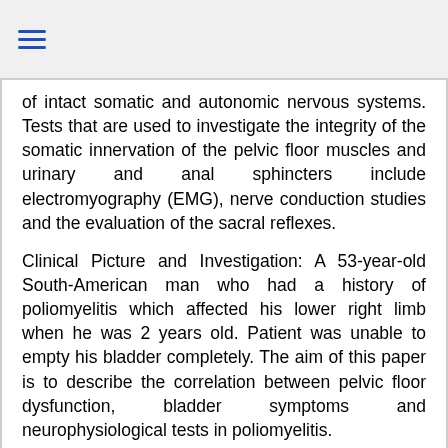≡
of intact somatic and autonomic nervous systems. Tests that are used to investigate the integrity of the somatic innervation of the pelvic floor muscles and urinary and anal sphincters include electromyography (EMG), nerve conduction studies and the evaluation of the sacral reflexes.
Clinical Picture and Investigation: A 53-year-old South-American man who had a history of poliomyelitis which affected his lower right limb when he was 2 years old. Patient was unable to empty his bladder completely. The aim of this paper is to describe the correlation between pelvic floor dysfunction, bladder symptoms and neurophysiological tests in poliomyelitis.
Conclusions: Conclusion: Neurophysiological diagnostic procedures adopted in our study can discern the degree of central and peripheral nervous